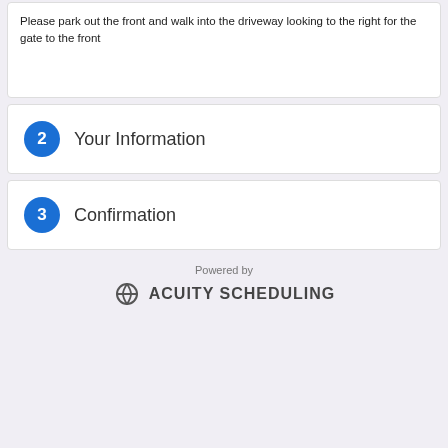Please park out the front and walk into the driveway looking to the right for the gate to the front
2 Your Information
3 Confirmation
Powered by ACUITY SCHEDULING